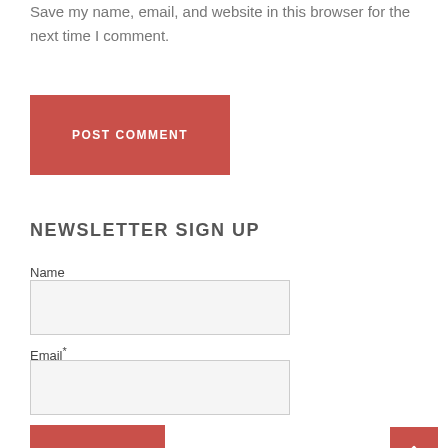Save my name, email, and website in this browser for the next time I comment.
POST COMMENT
NEWSLETTER SIGN UP
Name
Email*
SUBMIT